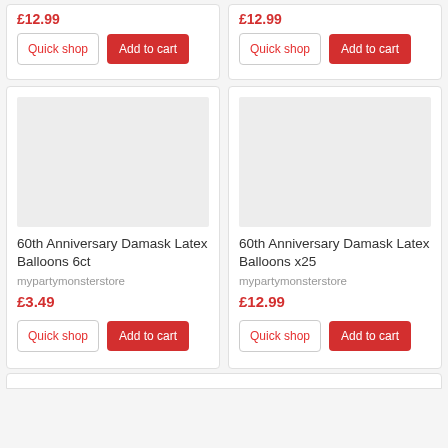£12.99
Quick shop
Add to cart
£12.99
Quick shop
Add to cart
[Figure (other): Product image placeholder (gray box) for 60th Anniversary Damask Latex Balloons 6ct]
60th Anniversary Damask Latex Balloons 6ct
mypartymonsterstore
£3.49
Quick shop
Add to cart
[Figure (other): Product image placeholder (gray box) for 60th Anniversary Damask Latex Balloons x25]
60th Anniversary Damask Latex Balloons x25
mypartymonsterstore
£12.99
Quick shop
Add to cart